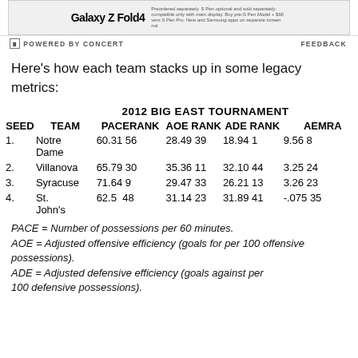[Figure (other): Samsung Galaxy Z Fold4 advertisement banner with product name and small print]
POWERED BY CONCERT   FEEDBACK
Here's how each team stacks up in some legacy metrics:
| SEED | TEAM | PACE | RANK | AOE RANK | ADE RANK | AEMRA |
| --- | --- | --- | --- | --- | --- | --- |
| 1. | Notre Dame | 60.31 | 56 | 28.49 | 39 | 18.94 | 1 | 9.56 | 8 |
| 2. | Villanova | 65.79 | 30 | 35.36 | 11 | 32.10 | 44 | 3.25 | 24 |
| 3. | Syracuse | 71.64 | 9 | 29.47 | 33 | 26.21 | 13 | 3.26 | 23 |
| 4. | St. John's | 62.5 | 48 | 31.14 | 23 | 31.89 | 41 | -.075 | 35 |
PACE = Number of possessions per 60 minutes.
AOE = Adjusted offensive efficiency (goals for per 100 offensive possessions).
ADE = Adjusted defensive efficiency (goals against per 100 defensive possessions).